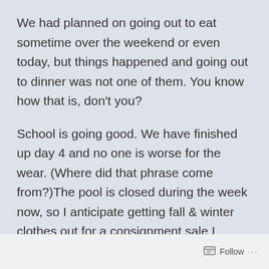We had planned on going out to eat sometime over the weekend or even today, but things happened and going out to dinner was not one of them. You know how that is, don't you?
School is going good. We have finished up day 4 and no one is worse for the wear. (Where did that phrase come from?)The pool is closed during the week now, so I anticipate getting fall & winter clothes out for a consignment sale I always participate in and cleaning the house. Going to the pool every afternoon didn't do anything good for the house! She has suffered quite a bit this summer.
Follow ···